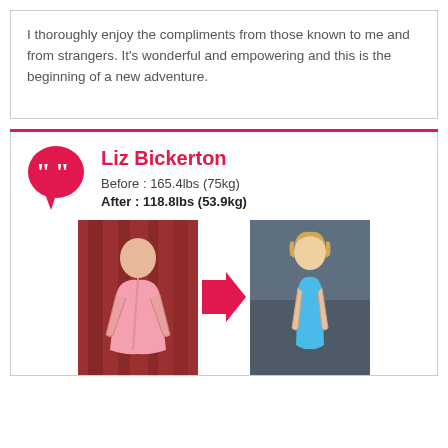I thoroughly enjoy the compliments from those known to me and from strangers. It's wonderful and empowering and this is the beginning of a new adventure.
Liz Bickerton
Before : 165.4lbs (75kg)
After : 118.8lbs (53.9kg)
[Figure (photo): Before and after weight loss photos of Liz Bickerton. Left photo shows before in pink bikini, right photo shows after in blue bikini, separated by a pink arrow pointing right.]